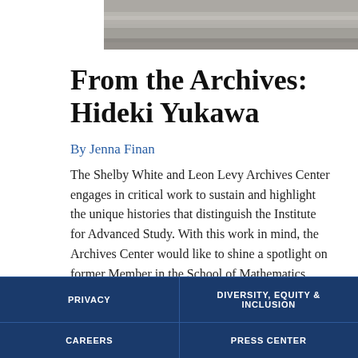[Figure (photo): Black and white archival photograph strip at the top of the page]
From the Archives: Hideki Yukawa
By Jenna Finan
The Shelby White and Leon Levy Archives Center engages in critical work to sustain and highlight the unique histories that distinguish the Institute for Advanced Study. With this work in mind, the Archives Center would like to shine a spotlight on former Member in the School of Mathematics Hideki Yukawa (1907–1981).
PRIVACY | DIVERSITY, EQUITY & INCLUSION | CAREERS | PRESS CENTER